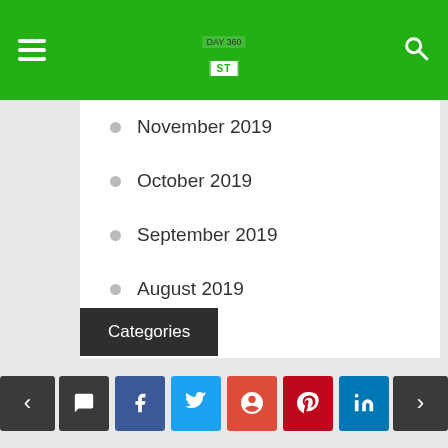ST
November 2019
October 2019
September 2019
August 2019
July 2019
June 2019
May 2019
April 2019
March 2019
Categories